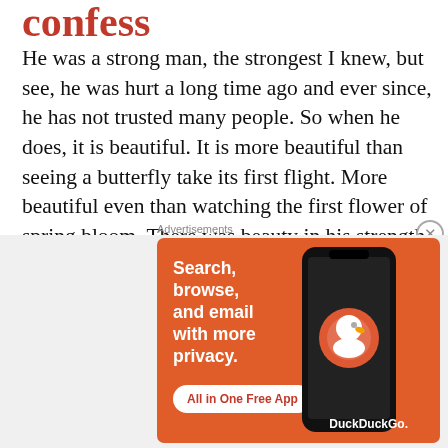confess
He was a strong man, the strongest I knew, but see, he was hurt a long time ago and ever since, he has not trusted many people. So when he does, it is beautiful. It is more beautiful than seeing a butterfly take its first flight. More beautiful even than watching the first flower of spring bloom. There was beauty in his strength but also … Continue reading
PIA MAJUMDAR / 20 COMMENTS
SCRIBBLES
[Figure (screenshot): DuckDuckGo advertisement banner: orange background with white text 'Search, browse, and email with more privacy.' and button 'All in One Free App', with phone graphic and DuckDuckGo logo on the right.]